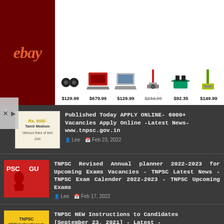[Figure (screenshot): eBay advertisement banner showing products with prices: headphones $129.99, laptop $679.99, laptop $129.99, vacuum $234.99, tool kit $92.35, floor cleaner $149.99]
Published Today APPLY ONLINE- 6000+ Vacancies Apply Online -Latest News- www.tnpsc.gov.in
Lee   Feb 23, 2022
TNPSC Revised Annual planner 2022-2023 for Upcoming Exams Vacancies - TNPSC Latest News - TNPSC Exam Calender 2022-2023 - TNPSC Upcoming Exams
Lee   Feb 17, 2022
TNPSC NEW Instructions to Candidates [September 23, 2021] - Latest - Instructions to Applicants
Lee   Sept 23, 2021
TNPSC Combined Engineering Subordinate Services 2021 Exam date...